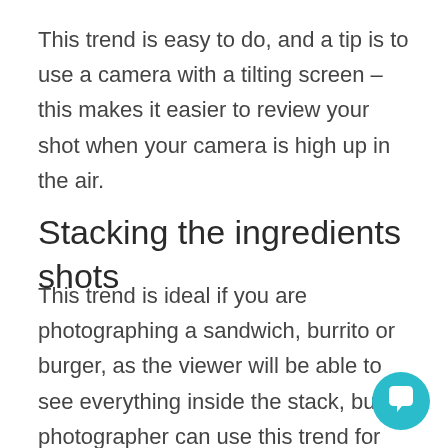This trend is easy to do, and a tip is to use a camera with a tilting screen – this makes it easier to review your shot when your camera is high up in the air.
Stacking the ingredients shots
This trend is ideal if you are photographing a sandwich, burrito or burger, as the viewer will be able to see everything inside the stack, but a photographer can use this trend for other c as well.